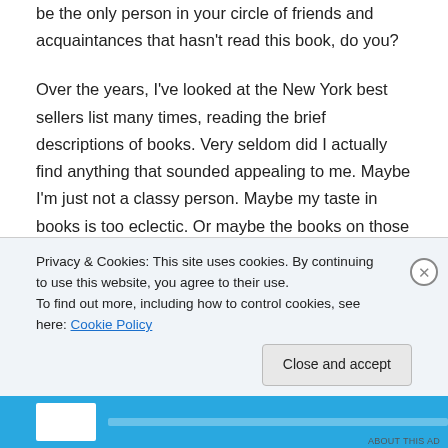be the only person in your circle of friends and acquaintances that hasn't read this book, do you?
Over the years, I've looked at the New York best sellers list many times, reading the brief descriptions of books. Very seldom did I actually find anything that sounded appealing to me. Maybe I'm just not a classy person. Maybe my taste in books is too eclectic. Or maybe the books on those lists don't really show what people are mostly reading. Who decided which books make it onto the lists, and how
Privacy & Cookies: This site uses cookies. By continuing to use this website, you agree to their use.
To find out more, including how to control cookies, see here: Cookie Policy
Close and accept